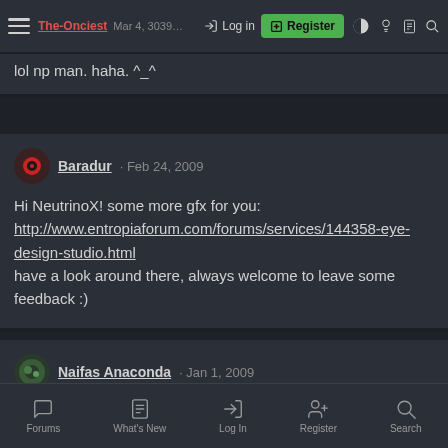The-Onciest | Log in | Register
lol np man. haha. ^_^
Baradur · Feb 24, 2009
Hi NeutrinoX! some more gfx for you:
http://www.entropiaforum.com/forums/services/144358-eye-design-studio.html
have a look around there, always welcome to leave some feedback :)
Naifas Anaconda · Jan 1, 2009
Well, actually, i didn't know 🙂. Thank you. If you need a shelter, drop by Sakura, i let u sleep on the couch 😀.
Happy new year!
Forums | What's New | Log In | Register | Search